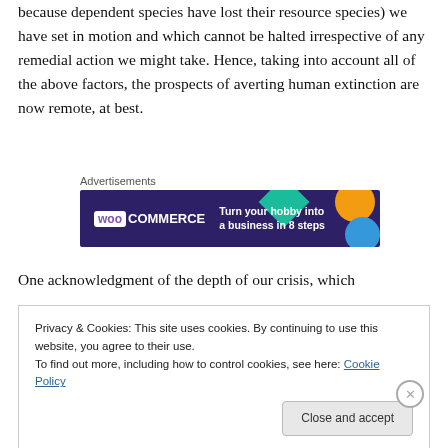because dependent species have lost their resource species) we have set in motion and which cannot be halted irrespective of any remedial action we might take. Hence, taking into account all of the above factors, the prospects of averting human extinction are now remote, at best.
[Figure (other): WooCommerce advertisement banner: dark purple background with teal, orange, and blue decorative shapes. Text reads 'WOO COMMERCE — Turn your hobby into a business in 8 steps'. Above the banner is the label 'Advertisements'.]
One acknowledgment of the depth of our crisis, which
Privacy & Cookies: This site uses cookies. By continuing to use this website, you agree to their use.
To find out more, including how to control cookies, see here: Cookie Policy
[Close and accept button]